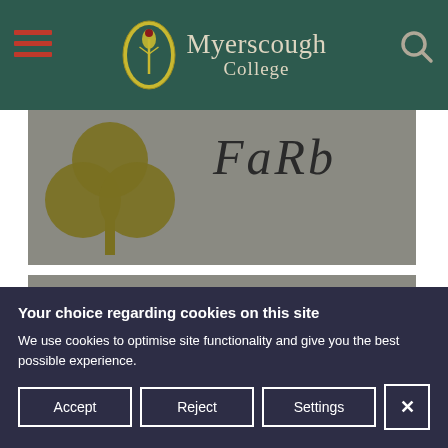Myerscough College
[Figure (screenshot): Partial view of a webpage showing a trefoil/shamrock logo and partial text 'Farm' or 'Park' on a gray background]
[Figure (screenshot): Gray placeholder image area, second content block]
Your choice regarding cookies on this site
We use cookies to optimise site functionality and give you the best possible experience.
Accept
Reject
Settings